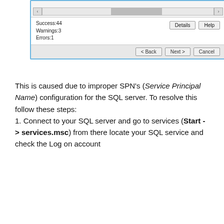[Figure (screenshot): Windows installation dialog showing scroll area with status: Success:44, Warnings:3, Errors:1 and Details/Help buttons, and Back/Next/Cancel navigation buttons]
This is caused due to improper SPN's (Service Principal Name) configuration for the SQL server. To resolve this follow these steps:
1. Connect to your SQL server and go to services (Start -> services.msc) from there locate your SQL service and check the Log on account
[Figure (screenshot): Windows Services list showing columns: Name, Description, Status, Startup Type, Log On As. Rows include Special Administration Con..., Spot Verifier, SQL Full-text Filter Daemon..., SQL Server (MSSQLSERVER) highlighted in blue with TZOOKI\sqlsvc underlined in red, SQL Server Agent (MSSQLS...), SQL Server Browser, SQL Server Reporting Servic...]